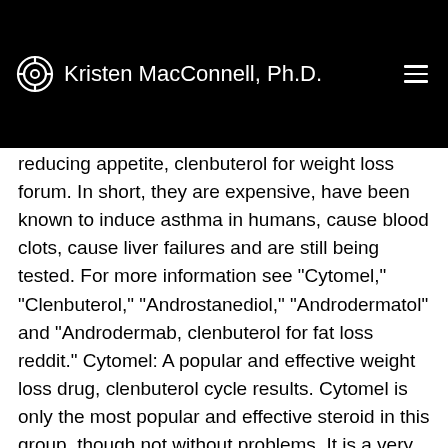Kristen MacConnell, Ph.D.
reducing appetite, clenbuterol for weight loss forum. In short, they are expensive, have been known to induce asthma in humans, cause blood clots, cause liver failures and are still being tested. For more information see "Cytomel," "Clenbuterol," "Androstanediol," "Androdermatol" and "Androdermab, clenbuterol for fat loss reddit." Cytomel: A popular and effective weight loss drug, clenbuterol cycle results. Cytomel is only the most popular and effective steroid in this group, though not without problems. It is a very effective and powerful fat burner and this is largely why it is in top dog amongst weight loss drugs in the US. This is also the main reason why